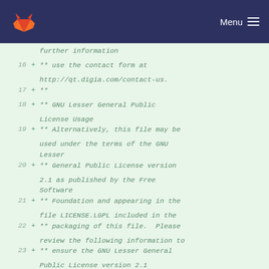GitLab — Menu
further information
16 + ** use the contact form at http://qt.digia.com/contact-us.
17 + **
18 + ** GNU Lesser General Public License Usage
19 + ** Alternatively, this file may be used under the terms of the GNU Lesser
20 + ** General Public License version 2.1 as published by the Free Software
21 + ** Foundation and appearing in the file LICENSE.LGPL included in the
22 + ** packaging of this file.  Please review the following information to
23 + ** ensure the GNU Lesser General Public License version 2.1 requirements
24 + ** will be met: